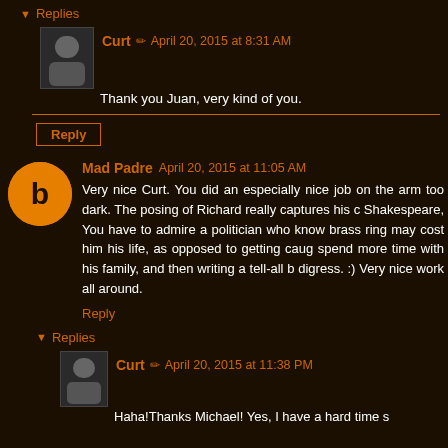▼ Replies
Curt ✏ April 20, 2015 at 8:31 AM
Thank you Juan, very kind of you.
Reply
Mad Padre  April 20, 2015 at 11:05 AM
Very nice Curt. You did an especially nice job on the arm... too dark. The posing of Richard really captures his c... Shakespeare, You have to admire a politician who know... brass ring may cost him his life, as opposed to getting caug... spend more time with his family, and then writing a tell-all b... digress. :) Very nice work all around.
Reply
▼ Replies
Curt ✏ April 20, 2015 at 11:38 PM
Haha!Thanks Michael! Yes, I have a hard time s...